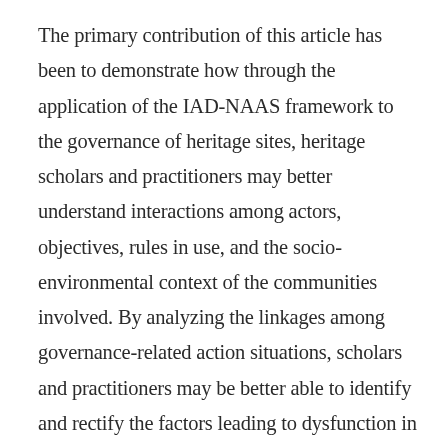The primary contribution of this article has been to demonstrate how through the application of the IAD-NAAS framework to the governance of heritage sites, heritage scholars and practitioners may better understand interactions among actors, objectives, rules in use, and the socio-environmental context of the communities involved. By analyzing the linkages among governance-related action situations, scholars and practitioners may be better able to identify and rectify the factors leading to dysfunction in site governance. With such knowledge, practitioners could investigate and experiment with changes to institutional rules, rewards, and sanctions in order to achieve more consistently desirable outcomes in